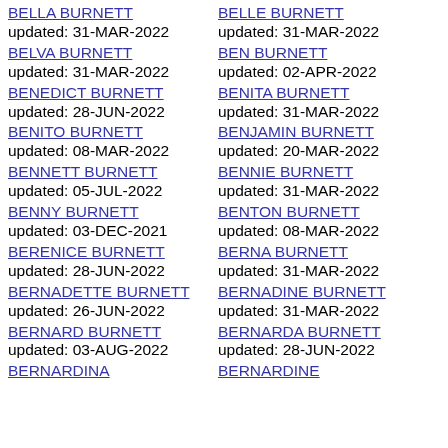BELLA BURNETT updated: 31-MAR-2022
BELVA BURNETT updated: 31-MAR-2022
BENEDICT BURNETT updated: 28-JUN-2022
BENITO BURNETT updated: 08-MAR-2022
BENNETT BURNETT updated: 05-JUL-2022
BENNY BURNETT updated: 03-DEC-2021
BERENICE BURNETT updated: 28-JUN-2022
BERNADETTE BURNETT updated: 26-JUN-2022
BERNARD BURNETT updated: 03-AUG-2022
BERNARDINA
BELLE BURNETT updated: 31-MAR-2022
BEN BURNETT updated: 02-APR-2022
BENITA BURNETT updated: 31-MAR-2022
BENJAMIN BURNETT updated: 20-MAR-2022
BENNIE BURNETT updated: 31-MAR-2022
BENTON BURNETT updated: 08-MAR-2022
BERNA BURNETT updated: 31-MAR-2022
BERNADINE BURNETT updated: 31-MAR-2022
BERNARDA BURNETT updated: 28-JUN-2022
BERNARDINE